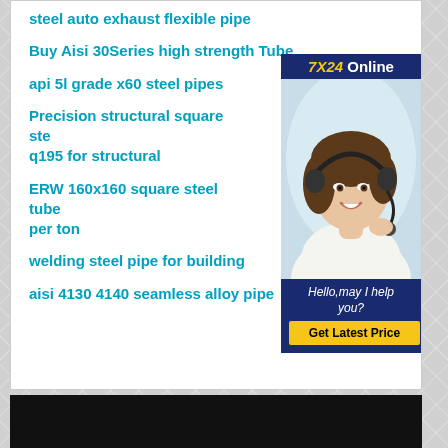steel auto exhaust flexible pipe
Buy Aisi 30Series high strength Tube
api 5l grade x60 steel pipes
Precision structural square ste q195 for structural
ERW 160x160 square steel tube per ton
welding steel pipe for building
aisi 4130 4140 seamless alloy pipe
[Figure (photo): Customer service representative with headset smiling, with 7X24 Online header, Hello may I help you text, and Get Latest Price button. Dark navy blue background with gold accent text.]